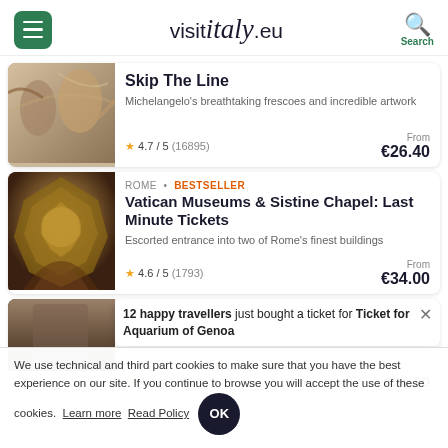visitItaly.eu
Skip The Line
Michelangelo's breathtaking frescoes and incredible artwork
4.7 / 5 (16895)
From €26.40
ROME · BESTSELLER
Vatican Museums & Sistine Chapel: Last Minute Tickets
Escorted entrance into two of Rome's finest buildings
4.6 / 5 (1793)
From €34.00
12 happy travellers just bought a ticket for Ticket for Aquarium of Genoa
Discover all attractions
4.7 / 5 (602)
€24.00
We use technical and third part cookies to make sure that you have the best experience on our site. If you continue to browse you will accept the use of these cookies. Learn more Read Policy OK